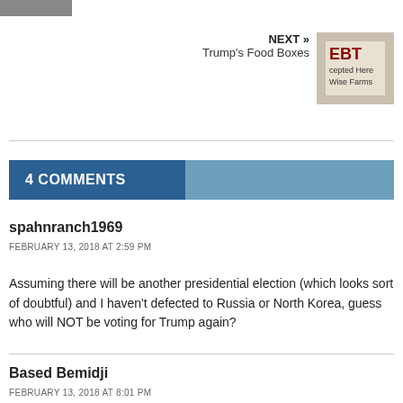[Figure (photo): Small cropped photo at top left, partially visible]
NEXT » Trump's Food Boxes
[Figure (photo): EBT sign photo — text reads 'EBT cepted Here Wise Farms']
4 COMMENTS
spahnranch1969
FEBRUARY 13, 2018 AT 2:59 PM
Assuming there will be another presidential election (which looks sort of doubtful) and I haven't defected to Russia or North Korea, guess who will NOT be voting for Trump again?
Based Bemidji
FEBRUARY 13, 2018 AT 8:01 PM